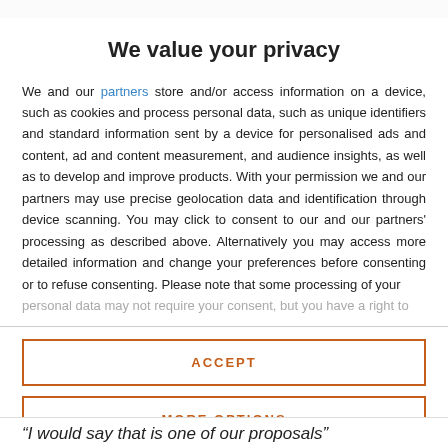We value your privacy
We and our partners store and/or access information on a device, such as cookies and process personal data, such as unique identifiers and standard information sent by a device for personalised ads and content, ad and content measurement, and audience insights, as well as to develop and improve products. With your permission we and our partners may use precise geolocation data and identification through device scanning. You may click to consent to our and our partners' processing as described above. Alternatively you may access more detailed information and change your preferences before consenting or to refuse consenting. Please note that some processing of your personal data may not require your consent, but you have a right to
ACCEPT
MORE OPTIONS
“I would say that is one of our proposals”